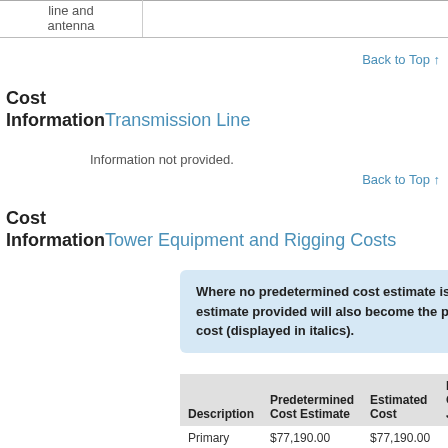|  |  |
| --- | --- |
| line and
antenna |  |
Back to Top ↑
Cost Information
Transmission Line
Information not provided.
Back to Top ↑
Cost Information
Tower Equipment and Rigging Costs
Where no predetermined cost estimate is available, any estimate provided will also become the predetermined cost (displayed in italics).
| Description | Predetermined Cost Estimate | Estimated Cost | Estimated Cost Justification | A |
| --- | --- | --- | --- | --- |
| Primary | $77,190.00 | $77,190.00 |  |  |